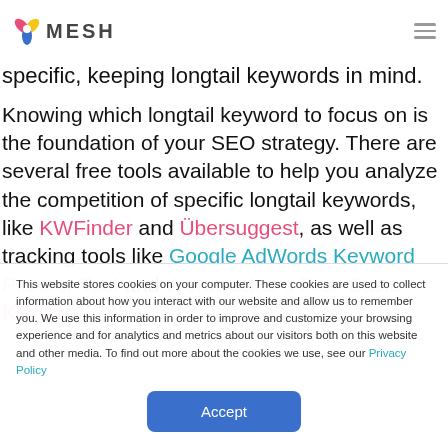MESH
specific, keeping longtail keywords in mind.
Knowing which longtail keyword to focus on is the foundation of your SEO strategy. There are several free tools available to help you analyze the competition of specific longtail keywords, like KWFinder and Übersuggest, as well as tracking tools like Google AdWords Keyword Planner Tool and Wordtracker's Free Basic Keyword
This website stores cookies on your computer. These cookies are used to collect information about how you interact with our website and allow us to remember you. We use this information in order to improve and customize your browsing experience and for analytics and metrics about our visitors both on this website and other media. To find out more about the cookies we use, see our Privacy Policy